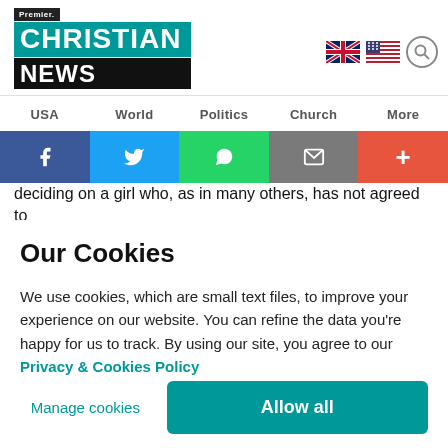[Figure (logo): Premier Christian News logo with teal background for CHRISTIAN and black background for NEWS]
USA   World   Politics   Church   More
[Figure (infographic): Social sharing bar with Facebook (blue), Twitter (light blue), WhatsApp (green), Email (grey), and More (red-orange) buttons]
deciding on a girl who, as in many others, has not agreed to
Our Cookies
We use cookies, which are small text files, to improve your experience on our website. You can refine the data you're happy for us to track. By using our site, you agree to our Privacy & Cookies Policy
Manage cookies
Allow all